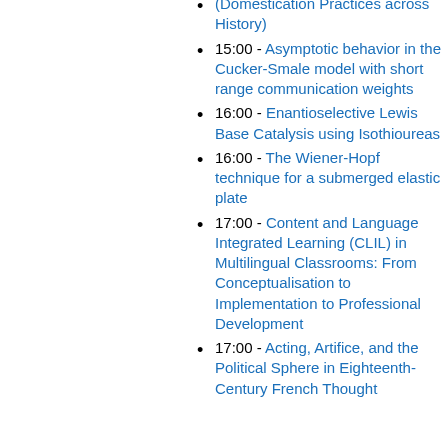(Domestication Practices across History)
15:00 - Asymptotic behavior in the Cucker-Smale model with short range communication weights
16:00 - Enantioselective Lewis Base Catalysis using Isothioureas
16:00 - The Wiener-Hopf technique for a submerged elastic plate
17:00 - Content and Language Integrated Learning (CLIL) in Multilingual Classrooms: From Conceptualisation to Implementation to Professional Development
17:00 - Acting, Artifice, and the Political Sphere in Eighteenth-Century French Thought